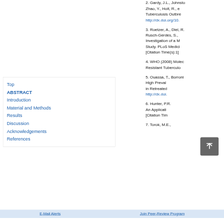2. Gardy, J.L., Johnston, … Zhao, Y., Holt, R., e… Tuberculosis Outre… http://dx.doi.org/10.…
3. Roetzer, A., Diel, R.… Rusch-Gerdes, S.,… Investigation of a M… Study. PLoS Medici… [Citation Time(s):1]
4. WHO (2008) Molec… Resistant Tuberculo…
5. Ouassa, T., Borroni… High Prevale… in Retreated… http://dx.doi.…
6. Hunter, P.R.… An Applicati… [Citation Tim…
7. Torok, M.E.,…
Top
ABSTRACT
Introduction
Material and Methods
Results
Discussion
Acknowledgements
References
E-Mail Alerts    Join Peer-Review Program